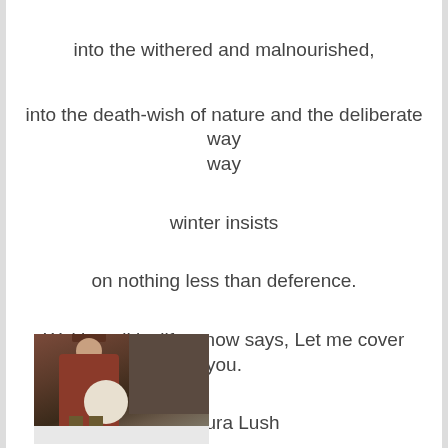into the withered and malnourished,
into the death-wish of nature and the deliberate way
winter insists
on nothing less than deference.
Waiting all its life, snow says, Let me cover you.
– Laura Lush
[Figure (photo): A person sitting outdoors holding a bundled object, with a barn in the background and snow on the ground.]